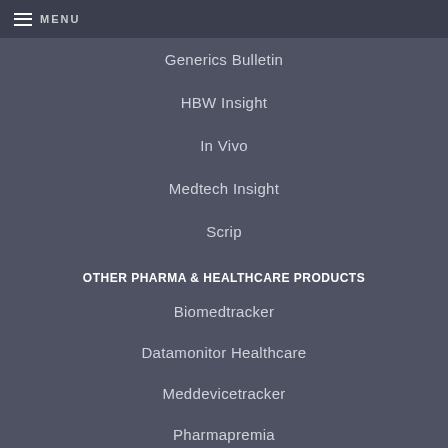MENU
Generics Bulletin
HBW Insight
In Vivo
Medtech Insight
Scrip
OTHER PHARMA & HEALTHCARE PRODUCTS
Biomedtracker
Datamonitor Healthcare
Meddevicetracker
Pharmapremia